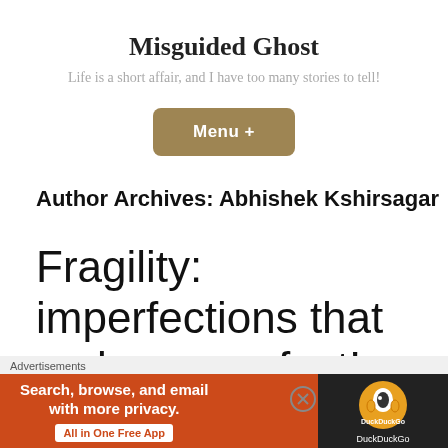Misguided Ghost
Life is a short affair, and I have too many stories to tell!
Menu +
Author Archives: Abhishek Kshirsagar
Fragility: imperfections that make us perfect!
Advertisements
[Figure (screenshot): DuckDuckGo advertisement banner: orange background with text 'Search, browse, and email with more privacy. All in One Free App' and DuckDuckGo logo on dark background on the right.]